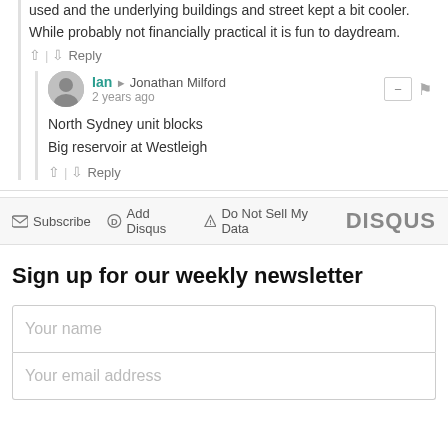used and the underlying buildings and street kept a bit cooler.
While probably not financially practical it is fun to daydream.
Ian → Jonathan Milford
2 years ago
North Sydney unit blocks
Big reservoir at Westleigh
Subscribe | Add Disqus | Do Not Sell My Data | DISQUS
Sign up for our weekly newsletter
Your name
Your email address